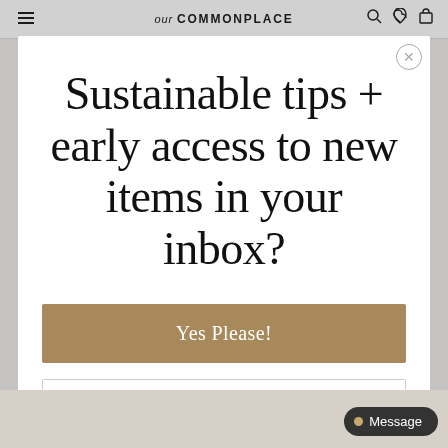our COMMONPLACE
Sustainable tips + early access to new items in your inbox?
Yes Please!
No thanks.
Message